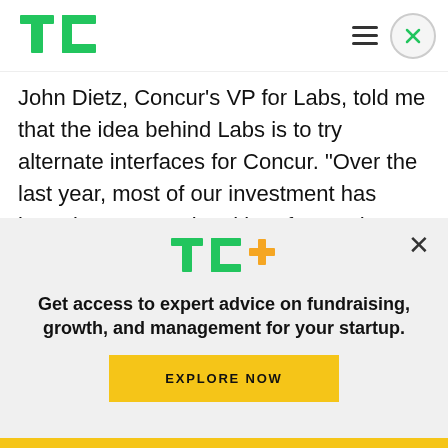TechCrunch logo and navigation
John Dietz, Concur’s VP for Labs, told me that the idea behind Labs is to try alternate interfaces for Concur. “Over the last year, most of our investment has been in conversational interfaces,” he noted. The Labs team itself has long been using Slack internally, so adding this integration was something of a no-brainer for the team. After a quick beta
[Figure (logo): TC+ logo with green TC letters and yellow plus sign]
Get access to expert advice on fundraising, growth, and management for your startup.
EXPLORE NOW